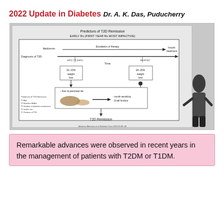2022 Update in Diabetes
Dr. A. K. Das, Puducherry
[Figure (photo): Photograph of a presentation slide about Predictors of T2D Remission showing a medical diagram with Metformin to Insulin treatment timeline, liver and pancreas fat reduction pathways, weight loss boxes (10-15% and 20-25%), insulin sensitivity and beta-cell function, leading to T2D Remission. A presenter is visible on the right side. Citation: Almansa Metchius et al Diabetes Care 2022;45:39-40]
Remarkable advances were observed in recent years in the management of patients with T2DM or T1DM.